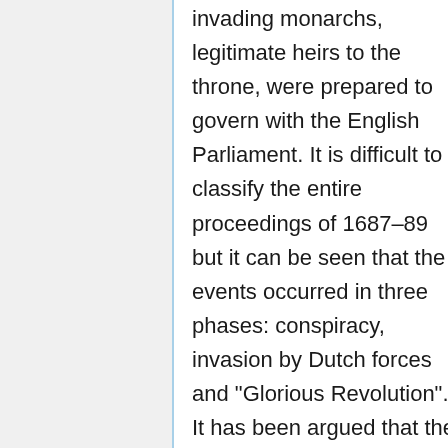invading monarchs, legitimate heirs to the throne, were prepared to govern with the English Parliament. It is difficult to classify the entire proceedings of 1687–89 but it can be seen that the events occurred in three phases: conspiracy, invasion by Dutch forces and "Glorious Revolution". It has been argued that the invasion aspect had been